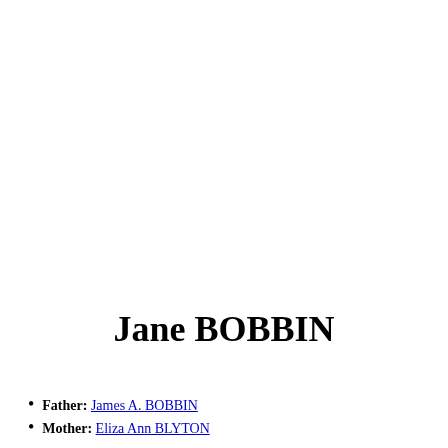Jane BOBBIN
Father: James A. BOBBIN
Mother: Eliza Ann BLYTON